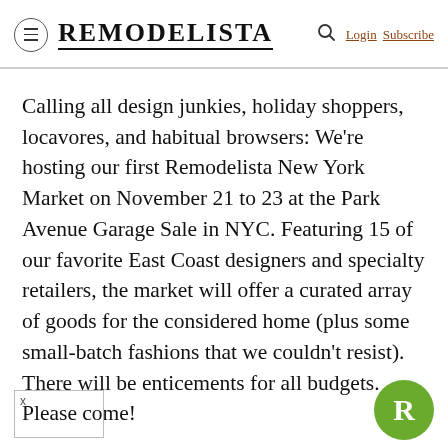REMODELISTA — Login Subscribe
Calling all design junkies, holiday shoppers, locavores, and habitual browsers: We're hosting our first Remodelista New York Market on November 21 to 23 at the Park Avenue Garage Sale in NYC. Featuring 15 of our favorite East Coast designers and specialty retailers, the market will offer a curated array of goods for the considered home (plus some small-batch fashions that we couldn't resist). There will be enticements for all budgets. Please come!
[Figure (logo): Green circle badge with white letter R]